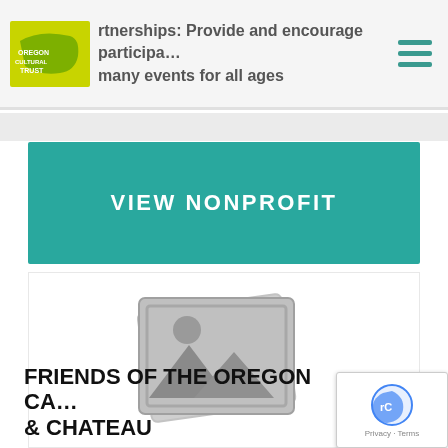rtnerships: Provide and encourage participation … many events for all ages
VIEW NONPROFIT
[Figure (illustration): Placeholder image icon showing stacked photo frames with mountain/sun graphic in grey]
FRIENDS OF THE OREGON CAVES & CHATEAU